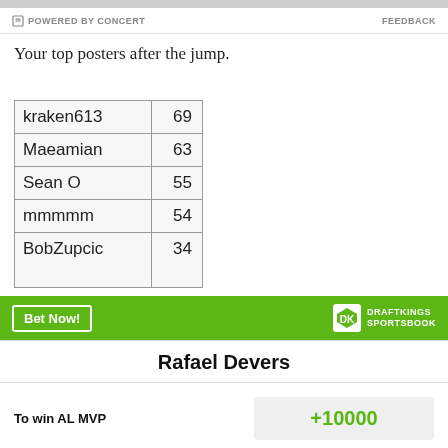POWERED BY CONCERT   FEEDBACK
Your top posters after the jump.
| kraken613 | 69 |
| Maeamian | 63 |
| Sean O | 55 |
| mmmmm | 54 |
| BobZupcic | 34 |
[Figure (other): DraftKings Sportsbook banner with Bet Now button and logo]
Rafael Devers
To win AL MVP   +10000